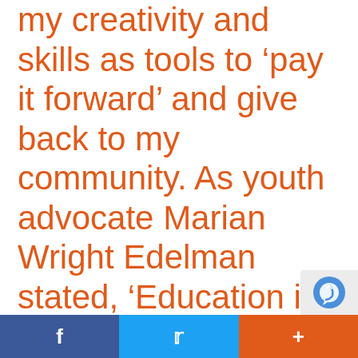my creativity and skills as tools to ‘pay it forward’ and give back to my community. As youth advocate Marian Wright Edelman stated, ‘Education is for improving the lives of others and for leaving your community and world better than you found it.’ I look forward to the
[Figure (other): reCAPTCHA badge icon in bottom-right corner]
f   t   +